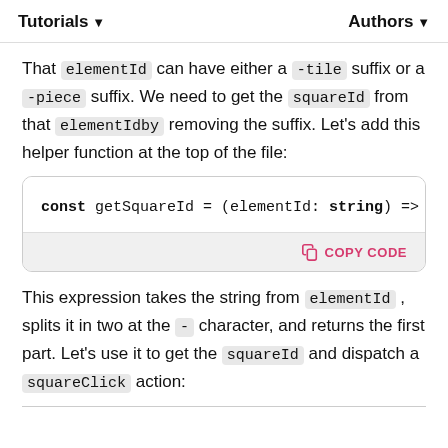Tutorials ▼   Authors ▼
That elementId can have either a -tile suffix or a -piece suffix. We need to get the squareId from that elementIdby removing the suffix. Let's add this helper function at the top of the file:
[Figure (screenshot): Code block showing: const getSquareId = (elementId: string) => elementId with a COPY CODE button below]
This expression takes the string from elementId , splits it in two at the - character, and returns the first part. Let's use it to get the squareId and dispatch a squareClick action: